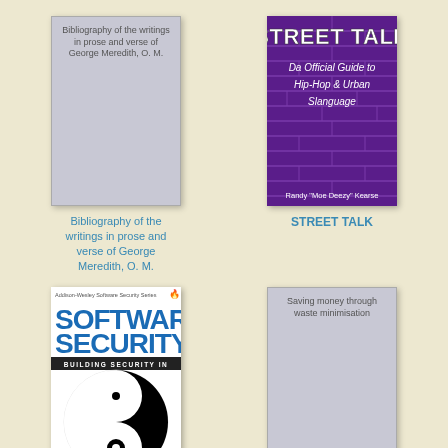[Figure (illustration): Book cover placeholder with gray background showing title text: Bibliography of the writings in prose and verse of George Meredith, O. M.]
[Figure (illustration): Book cover for STREET TALK: Da Official Guide to Hip-Hop & Urban Slanguage by Randy Moe Deezy Kearse, purple brick wall background]
Bibliography of the writings in prose and verse of George Meredith, O. M.
STREET TALK
[Figure (illustration): Book cover for Software Security: Building Security In, Addison-Wesley Software Security Series, black and white yin-yang symbol]
[Figure (illustration): Book cover placeholder with gray background showing title text: Saving money through waste minimisation]